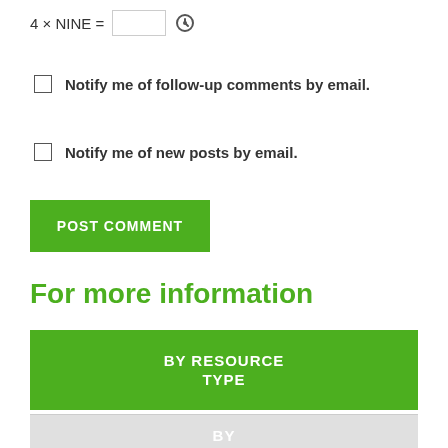4 × NINE =
Notify me of follow-up comments by email.
Notify me of new posts by email.
POST COMMENT
For more information
BY RESOURCE TYPE
BY THEME
BOOKS
DISCUSSION BRIEFS
EFC TALKS